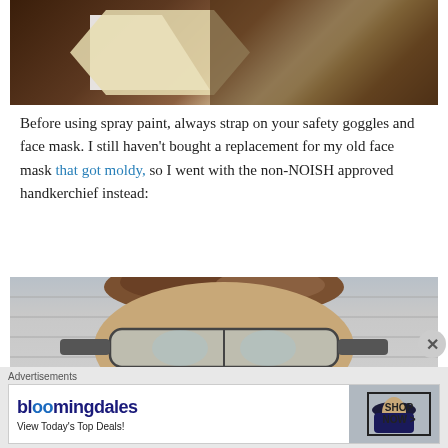[Figure (photo): Top-down photo of a DIY project on a brown plastic sheet, showing tape and a geometric design with white and cream/beige shapes.]
Before using spray paint, always strap on your safety goggles and face mask. I still haven't bought a replacement for my old face mask that got moldy, so I went with the non-NOISH approved handkerchief instead:
[Figure (photo): Person wearing safety goggles over their eyes, photographed outdoors in front of gray siding, with brown hair visible at the top.]
Advertisements
bloomingdales — View Today's Top Deals! — SHOP NOW >